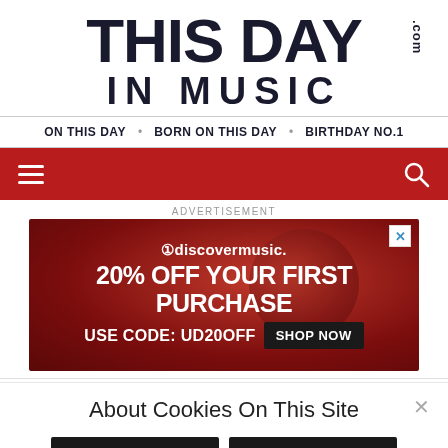THIS DAY IN MUSIC.com
ON THIS DAY • BORN ON THIS DAY • BIRTHDAY NO.1
[Figure (screenshot): Red navigation bar with hamburger menu icon on left and search icon on right]
ADVERTISEMENT
[Figure (infographic): uDiscovermusic advertisement banner: 20% OFF YOUR FIRST PURCHASE USE CODE: UD20OFF SHOP NOW]
About Cookies On This Site
I UNDERSTAND
COOKIE CHOICES